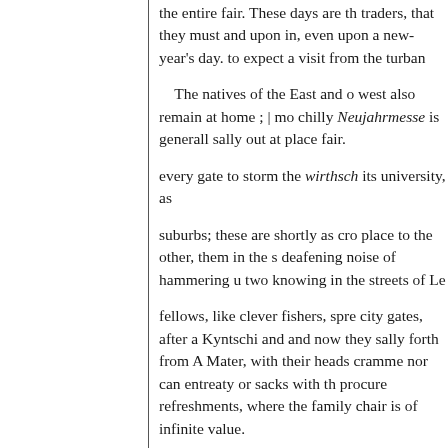the entire fair. These days are th traders, that they must and upon in, even upon a new-year's day. to expect a visit from the turban
The natives of the East and o west also remain at home ; | mo chilly Neujahrmesse is generall sally out at place fair.
every gate to storm the wirthsch its university, as
suburbs; these are shortly as cro place to the other, them in the s deafening noise of hammering u two knowing in the streets of Le
fellows, like clever fishers, spre city gates, after a Kyntschi and and now they sally forth from A Mater, with their heads cramme nor can entreaty or sacks with th procure refreshments, where the family chair is of infinite value.